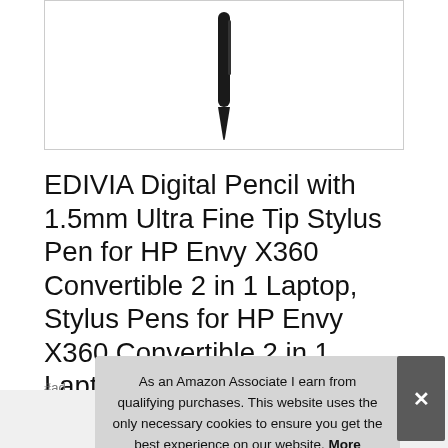[Figure (photo): Partial view of a digital stylus/pen product image against white background, showing the tip portion of a black stylus]
EDIVIA Digital Pencil with 1.5mm Ultra Fine Tip Stylus Pen for HP Envy X360 Convertible 2 in 1 Laptop, Stylus Pens for HP Envy X360 Convertible 2 in 1 Laptop, Black
#ad
As an Amazon Associate I earn from qualifying purchases. This website uses the only necessary cookies to ensure you get the best experience on our website. More information